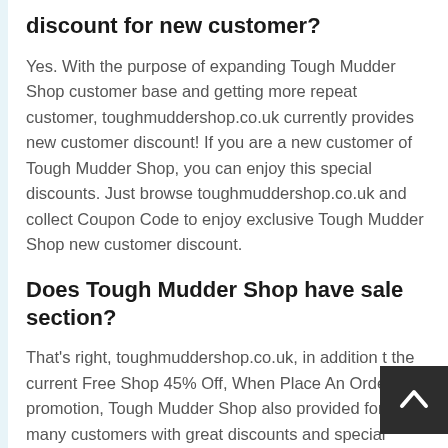discount for new customer?
Yes. With the purpose of expanding Tough Mudder Shop customer base and getting more repeat customer, toughmuddershop.co.uk currently provides new customer discount! If you are a new customer of Tough Mudder Shop, you can enjoy this special discounts. Just browse toughmuddershop.co.uk and collect Coupon Code to enjoy exclusive Tough Mudder Shop new customer discount.
Does Tough Mudder Shop have sale section?
That's right, toughmuddershop.co.uk, in addition to the current Free Shop 45% Off, When Place An Order promotion, Tough Mudder Shop also provided for many customers with great discounts and special promotion sale section. Here you can find Tough Mudder Shop the lowest price but